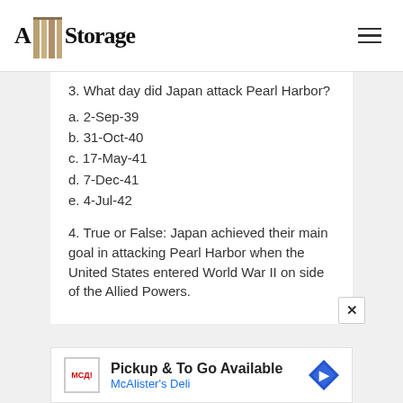A! Storage
3. What day did Japan attack Pearl Harbor?
a. 2-Sep-39
b. 31-Oct-40
c. 17-May-41
d. 7-Dec-41
e. 4-Jul-42
4. True or False: Japan achieved their main goal in attacking Pearl Harbor when the United States entered World War II on side of the Allied Powers.
[Figure (other): Advertisement banner for McAlister's Deli - Pickup & To Go Available]